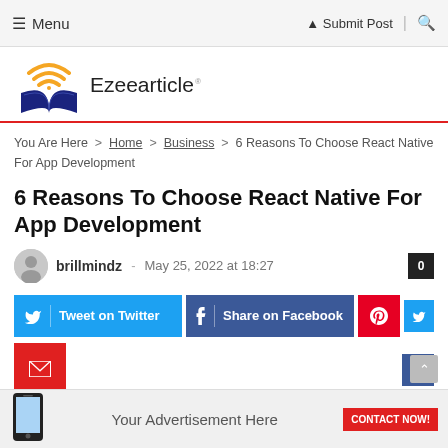≡ Menu | Submit Post | 🔍
[Figure (logo): Ezeearticle logo with book and wifi signal icon]
You Are Here > Home > Business > 6 Reasons To Choose React Native For App Development
6 Reasons To Choose React Native For App Development
brillmindz - May 25, 2022 at 18:27
Tweet on Twitter | Share on Facebook | Pinterest | Email